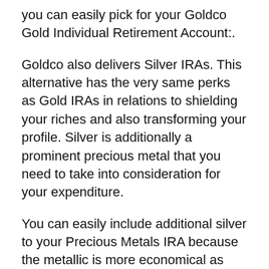you can easily pick for your Goldco Gold Individual Retirement Account:.
Goldco also delivers Silver IRAs. This alternative has the very same perks as Gold IRAs in relations to shielding your riches and also transforming your profile. Silver is additionally a prominent precious metal that you need to take into consideration for your expenditure.
You can easily include additional silver to your Precious Metals IRA because the metallic is more economical as matched up to gold. You can receive even more silver pubs and also coins for the very same rate.
Internal revenue service regulations direct